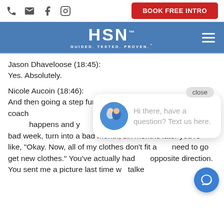BOOK FREE INTRO
[Figure (logo): HSN logo with tagline GUIDED. TESTED. PROVEN. on blue navigation bar]
Jason Dhaveloose (18:45):
Yes. Absolutely.
Nicole Aucoin (18:46):
And then going a step further with accountability, having a coach to help guide you, to get you back on track definitely... happens and you... and instead of... bad week, turn into a bad month, six months later you're like, "Okay. Now, all of my clothes don't fit and I need to go get new clothes." You've actually had... opposite direction. You sent me a picture last time we talked and you said "Nicole about this interim" And...
[Figure (screenshot): Chat popup with avatar photo and text: Hi there, have a question? Text us here. Close button visible. Blue chat FAB button at bottom right.]